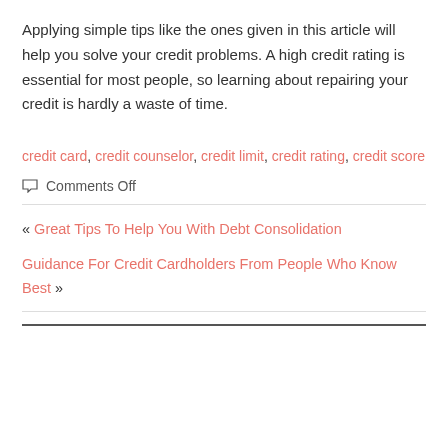Applying simple tips like the ones given in this article will help you solve your credit problems. A high credit rating is essential for most people, so learning about repairing your credit is hardly a waste of time.
credit card, credit counselor, credit limit, credit rating, credit score
Comments Off
« Great Tips To Help You With Debt Consolidation
Guidance For Credit Cardholders From People Who Know Best »